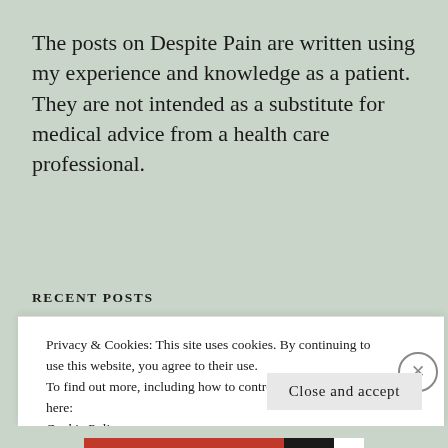The posts on Despite Pain are written using my experience and knowledge as a patient. They are not intended as a substitute for medical advice from a health care professional.
RECENT POSTS
Privacy & Cookies: This site uses cookies. By continuing to use this website, you agree to their use.
To find out more, including how to control cookies, see here:
Cookie Policy
Close and accept